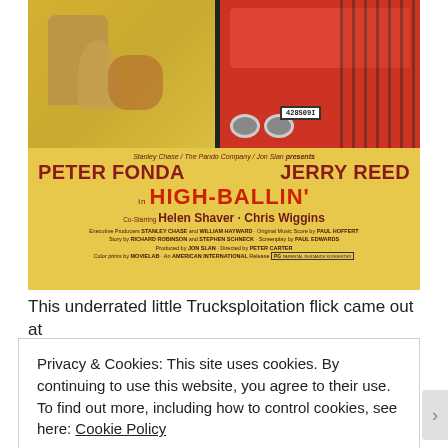[Figure (photo): Movie poster for High-Ballin' featuring Peter Fonda and Jerry Reed. Yellow background with illustration of figures running with a dog and a red truck. Credits text at bottom of poster.]
This underrated little Trucksploitation flick came out at the height of the CB/Trucker craze, and stars SMOKEY &
Privacy & Cookies: This site uses cookies. By continuing to use this website, you agree to their use.
To find out more, including how to control cookies, see here: Cookie Policy
Close and accept